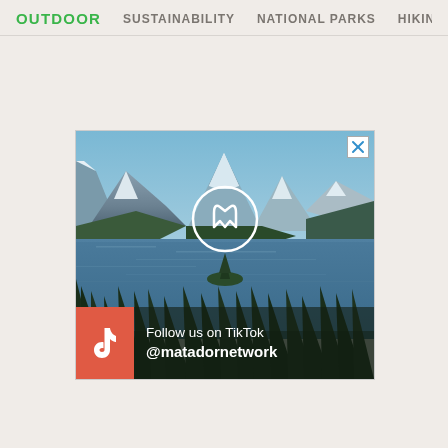OUTDOOR  SUSTAINABILITY  NATIONAL PARKS  HIKIN
[Figure (screenshot): Advertisement banner showing a mountain lake landscape (Glacier National Park style) with a Matador Network logo (circle with M) in the center, a coral/red TikTok banner at the bottom left with TikTok icon, text 'Follow us on TikTok @matadornetwork', and a close X button in the top right corner.]